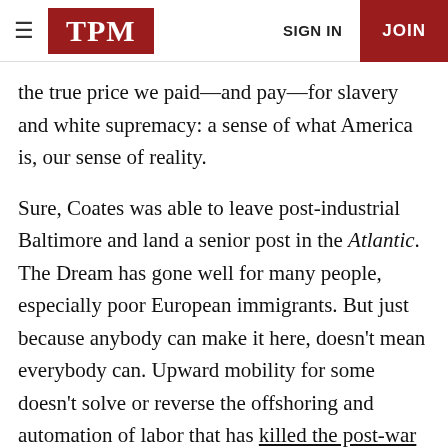TPM | SIGN IN | JOIN
the true price we paid—and pay—for slavery and white supremacy: a sense of what America is, our sense of reality.
Sure, Coates was able to leave post-industrial Baltimore and land a senior post in the Atlantic. The Dream has gone well for many people, especially poor European immigrants. But just because anybody can make it here, doesn't mean everybody can. Upward mobility for some doesn't solve or reverse the offshoring and automation of labor that has killed the post-war Dream of equal opportunity for all. The irony of the Dream as upward social